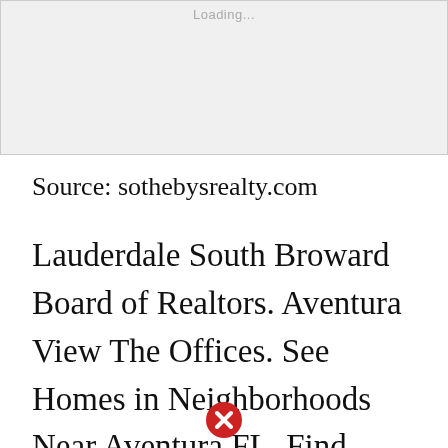[Figure (screenshot): Gray placeholder image box with 'Loading...' text at the top center]
Source: sothebysrealty.com
Lauderdale South Broward Board of Realtors. Aventura View The Offices. See Homes in Neighborhoods Near Aventura FL. Find Aventura FL homes for sale real estate apartments condos townhomes with Coldwell Banker Realty. Coronado Condominiums Towers Aventura FL real
[Figure (illustration): Red circle with white X close/error button icon at the bottom center of the page]